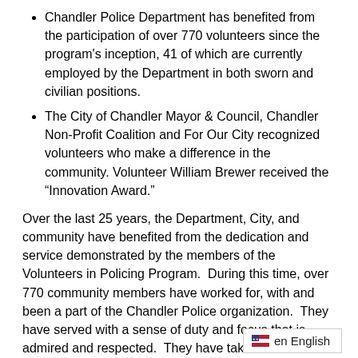Chandler Police Department has benefited from the participation of over 770 volunteers since the program's inception, 41 of which are currently employed by the Department in both sworn and civilian positions.
The City of Chandler Mayor & Council, Chandler Non-Profit Coalition and For Our City recognized volunteers who make a difference in the community. Volunteer William Brewer received the “Innovation Award.”
Over the last 25 years, the Department, City, and community have benefited from the dedication and service demonstrated by the members of the Volunteers in Policing Program.  During this time, over 770 community members have worked for, with and been a part of the Chandler Police organization.  They have served with a sense of duty and focus that is admired and respected.  They have taken and accepted personal ownership in their roles and established a level of commitment that surpasses all levels of expectation.
en English